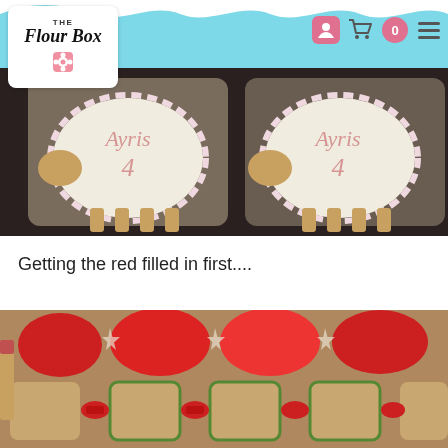The Flour Box
[Figure (photo): Two decorated sheep-shaped cookies with pink lettering reading 'Ayris 4', packaged in clear cellophane, on a dark background.]
Getting the red filled in first....
[Figure (photo): Cookies in progress being decorated with red and green icing, showing apple-shaped and ornament-shaped cookies on a baking tray.]